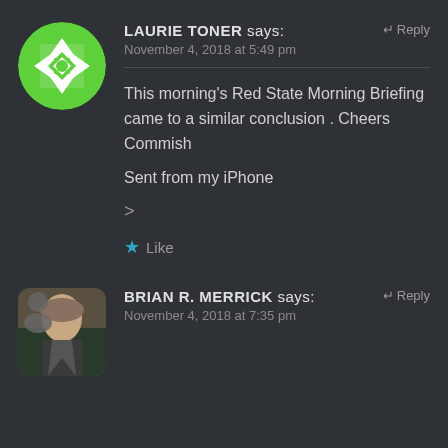[Figure (illustration): Green and white decorative geometric avatar for Laurie Toner]
LAURIE TONER says:
November 4, 2018 at 5:49 pm
Reply
This morning's Red State Morning Briefing came to a similar conclusion . Cheers Commish
Sent from my iPhone
>
Like
[Figure (photo): Portrait photo of Brian R. Merrick, elderly man in suit]
BRIAN R. MERRICK says:
November 4, 2018 at 7:35 pm
Reply